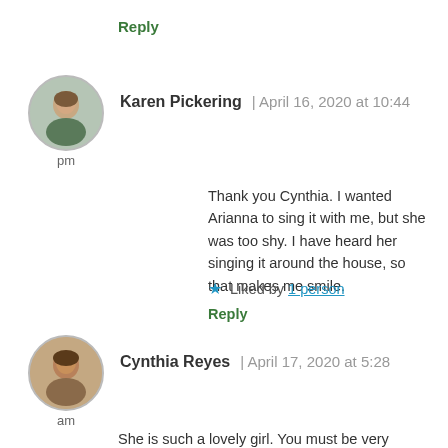Reply
Karen Pickering | April 16, 2020 at 10:44 pm
Thank you Cynthia. I wanted Arianna to sing it with me, but she was too shy. I have heard her singing it around the house, so that makes me smile.
★ Liked by 1 person
Reply
Cynthia Reyes | April 17, 2020 at 5:28 am
She is such a lovely girl. You must be very